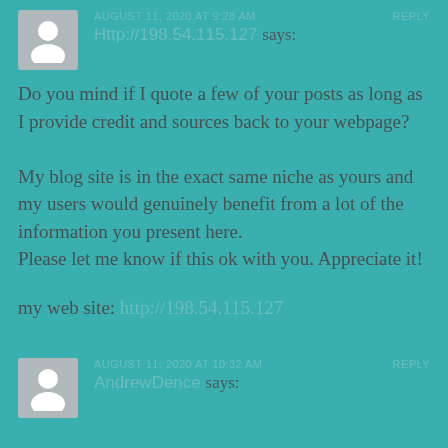AUGUST 11, 2020 AT 9:28 AM   REPLY
Http://198.54.115.127 says:
Do you mind if I quote a few of your posts as long as I provide credit and sources back to your webpage?

My blog site is in the exact same niche as yours and my users would genuinely benefit from a lot of the information you present here.
Please let me know if this ok with you. Appreciate it!
my web site: http://198.54.115.127
AUGUST 11, 2020 AT 10:32 AM   REPLY
AndrewDence says: